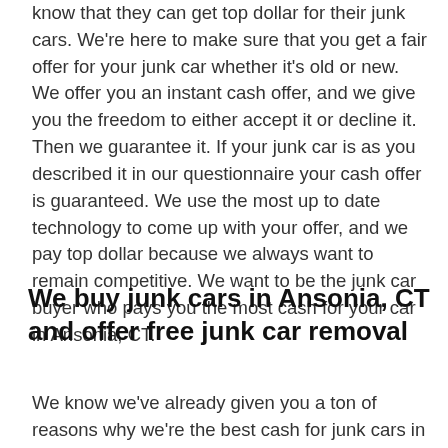know that they can get top dollar for their junk cars. We're here to make sure that you get a fair offer for your junk car whether it's old or new. We offer you an instant cash offer, and we give you the freedom to either accept it or decline it. Then we guarantee it. If your junk car is as you described it in our questionnaire your cash offer is guaranteed. We use the most up to date technology to come up with your offer, and we pay top dollar because we always want to remain competitive. We want to be the junk car buyer who pays you the most cash for your car in Ansonia, CT.
We buy junk cars in Ansonia, CT and offer free junk car removal
We know we've already given you a ton of reasons why we're the best cash for junk cars in Ansonia, CT